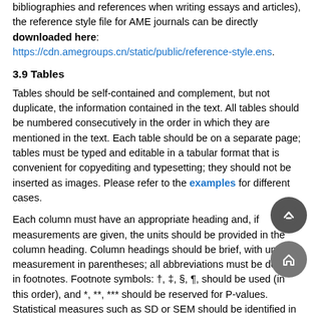bibliographies and references when writing essays and articles), the reference style file for AME journals can be directly downloaded here: https://cdn.amegroups.cn/static/public/reference-style.ens.
3.9 Tables
Tables should be self-contained and complement, but not duplicate, the information contained in the text. All tables should be numbered consecutively in the order in which they are mentioned in the text. Each table should be on a separate page; tables must be typed and editable in a tabular format that is convenient for copyediting and typesetting; they should not be inserted as images. Please refer to the examples for different cases.
Each column must have an appropriate heading and, if measurements are given, the units should be provided in the column heading. Column headings should be brief, with units of measurement in parentheses; all abbreviations must be defined in footnotes. Footnote symbols: †, ‡, §, ¶, should be used (in this order), and *, **, *** should be reserved for P-values. Statistical measures such as SD or SEM should be identified in the headings.
If the tables have been reproduced from another source, a letter of permission from the copyright holder (usually the publisher) authorizing the reproduction of the material must be submitted as